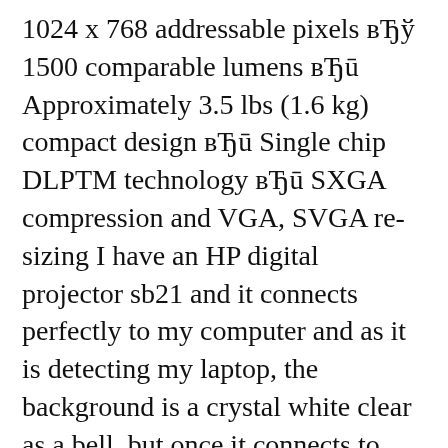1024 x 768 addressable pixels вЂў 1500 comparable lumens вЂū Approximately 3.5 lbs (1.6 kg) compact design вЂū Single chip DLPTM technology вЂū SXGA compression and VGA, SVGA re-sizing I have an HP digital projector sb21 and it connects perfectly to my computer and as it is detecting my laptop, the background is a crystal white clear as a bell, but once it connects to show my display off the laptop the background image changes to green.
23/03/2016В В· 1.1.Connect the HDMI TO HDMI Cable with Projector 1.2.Connect the HDMI to HDMI Cable with a Lightning Digital AV Adapter 1.3.Connect a Lightning Digital AV Adapter with your iPhone6. View the HP Sb21 Digital Projector Specifications for free. All the HP manuals and